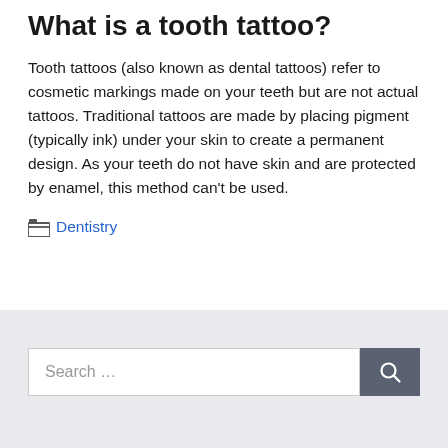What is a tooth tattoo?
Tooth tattoos (also known as dental tattoos) refer to cosmetic markings made on your teeth but are not actual tattoos. Traditional tattoos are made by placing pigment (typically ink) under your skin to create a permanent design. As your teeth do not have skin and are protected by enamel, this method can't be used.
Categories: Dentistry
Search …